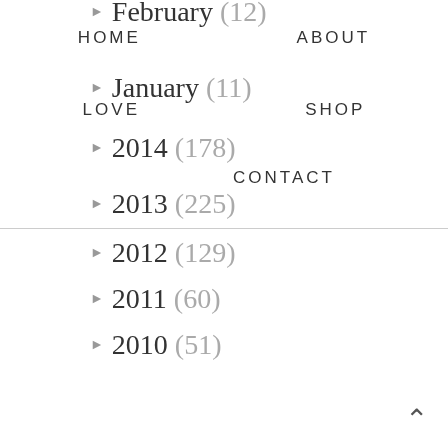February (12)
HOME   ABOUT
January (11)
LOVE   SHOP
2014 (178)
CONTACT
2013 (225)
2012 (129)
2011 (60)
2010 (51)